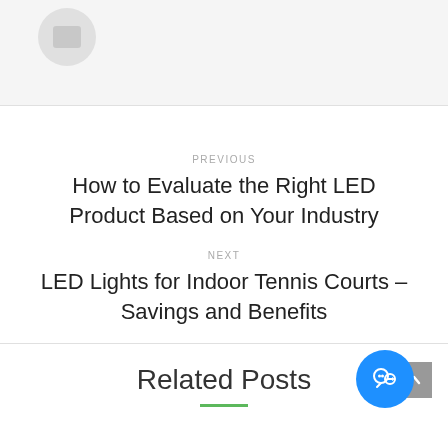[Figure (illustration): Gray avatar circle with a gray rectangle inside, on a light gray background strip at the top of the page]
PREVIOUS
How to Evaluate the Right LED Product Based on Your Industry
NEXT
LED Lights for Indoor Tennis Courts – Savings and Benefits
Related Posts